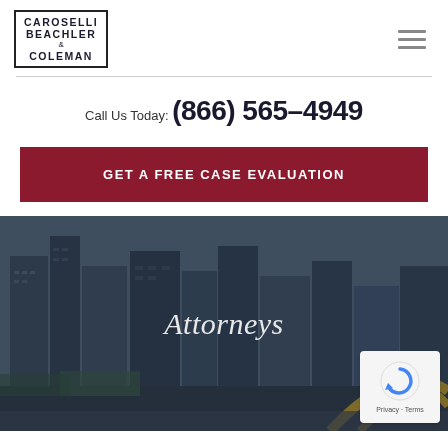[Figure (logo): Caroselli Beachler & Coleman law firm logo in a bordered box]
Call Us Today: (866) 565-4949
GET A FREE CASE EVALUATION
[Figure (photo): Aerial/skyline photo of Pittsburgh city with bridges, overlaid with text 'Attorneys']
[Figure (other): reCAPTCHA badge with Privacy and Terms links]